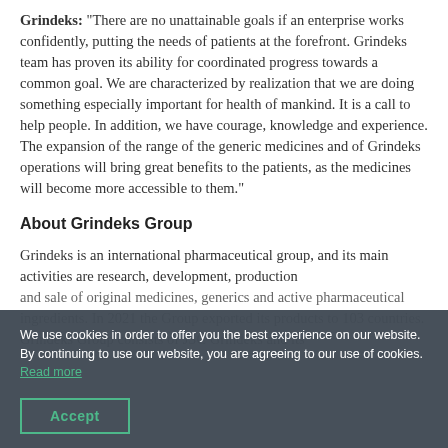Grindeks: "There are no unattainable goals if an enterprise works confidently, putting the needs of patients at the forefront. Grindeks team has proven its ability for coordinated progress towards a common goal. We are characterized by realization that we are doing something especially important for health of mankind. It is a call to help people. In addition, we have courage, knowledge and experience. The expansion of the range of the generic medicines and of Grindeks operations will bring great benefits to the patients, as the medicines will become more accessible to them."
About Grindeks Group
Grindeks is an international pharmaceutical group, and its main activities are research, development, production and sale of original medicines, generics and active pharmaceutical ingredients. In 2021 the Group exported its products to 103 countries. Grindeks Group consists of JSC Grindeks and its
We use cookies in order to offer you the best experience on our website. By continuing to use our website, you are agreeing to our use of cookies. Read more